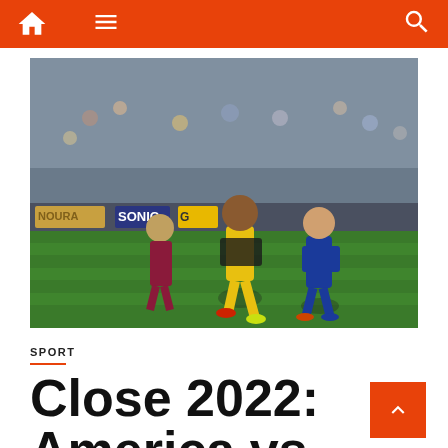Navigation bar with home, menu, and search icons
[Figure (photo): Soccer/football match photo showing players from Club América (yellow kit) and Querétaro (blue kit) competing on the field at night, with stadium crowd and advertising boards visible in the background.]
SPORT
Close 2022: America vs